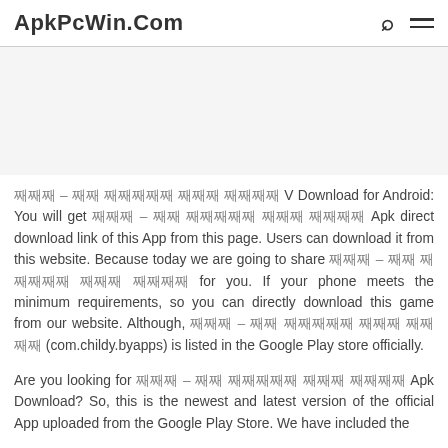ApkPcWin.Com
[Figure (other): Advertisement / blank white-gray area]
째째째 – 째째 째째째째째 째째째 째째째째 V Download for Android: You will get 째째째 – 째째 째째째째째 째째째 째째째째 Apk direct download link of this App from this page. Users can download it from this website. Because today we are going to share 째째째 – 째째 째째째째째 째째째 째째째째 for you. If your phone meets the minimum requirements, so you can directly download this game from our website. Although, 째째째 – 째째 째째째째째 째째째 째째째째 (com.childy.byapps) is listed in the Google Play store officially.
Are you looking for 째째째 – 째째 째째째째째 째째째 째째째째 Apk Download? So, this is the newest and latest version of the official App uploaded from the Google Play Store. We have included the